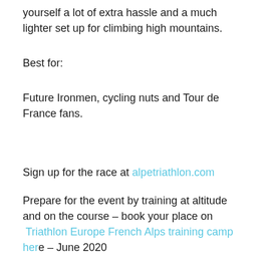yourself a lot of extra hassle and a much lighter set up for climbing high mountains.
Best for:
Future Ironmen, cycling nuts and Tour de France fans.
Sign up for the race at alpetriathlon.com
Prepare for the event by training at altitude and on the course – book your place on Triathlon Europe French Alps training camp here – June 2020